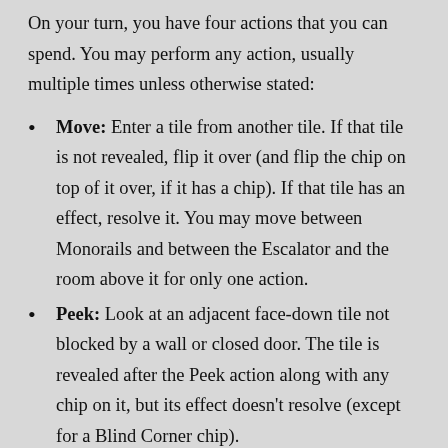On your turn, you have four actions that you can spend. You may perform any action, usually multiple times unless otherwise stated:
Move: Enter a tile from another tile. If that tile is not revealed, flip it over (and flip the chip on top of it over, if it has a chip). If that tile has an effect, resolve it. You may move between Monorails and between the Escalator and the room above it for only one action.
Peek: Look at an adjacent face-down tile not blocked by a wall or closed door. The tile is revealed after the Peek action along with any chip on it, but its effect doesn't resolve (except for a Blind Corner chip).
Open Door: You may attempt to open a closed door